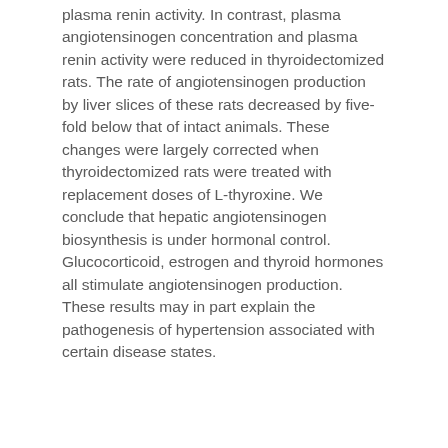plasma renin activity. In contrast, plasma angiotensinogen concentration and plasma renin activity were reduced in thyroidectomized rats. The rate of angiotensinogen production by liver slices of these rats decreased by five-fold below that of intact animals. These changes were largely corrected when thyroidectomized rats were treated with replacement doses of L-thyroxine. We conclude that hepatic angiotensinogen biosynthesis is under hormonal control. Glucocorticoid, estrogen and thyroid hormones all stimulate angiotensinogen production. These results may in part explain the pathogenesis of hypertension associated with certain disease states.